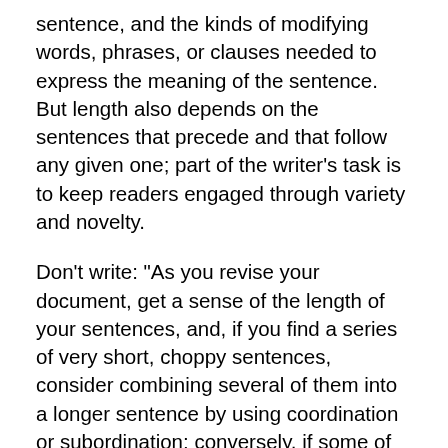sentence, and the kinds of modifying words, phrases, or clauses needed to express the meaning of the sentence. But length also depends on the sentences that precede and that follow any given one; part of the writer's task is to keep readers engaged through variety and novelty.
Don't write: "As you revise your document, get a sense of the length of your sentences, and, if you find a series of very short, choppy sentences, consider combining several of them into a longer sentence by using coordination or subordination; conversely, if some of the sentences seem so long that they will hamper reader understanding, split them into several shorter, more accessible ones."
Instead, try: As you revise your document, get a sense of the length of your sentences. If you find a series of very short, choppy sentences, consider